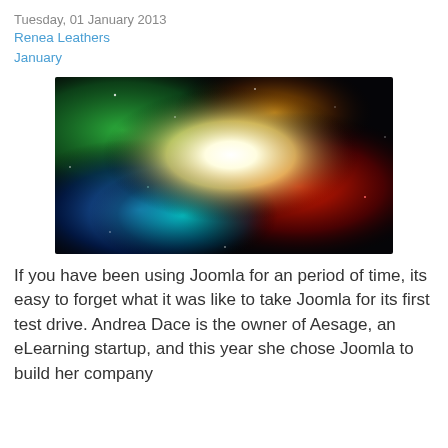Tuesday, 01 January 2013
Renea Leathers
January
[Figure (photo): Colorful nebula-like image with vivid green, blue, red, yellow and white glowing clouds against a dark/black space background, creating a vibrant rainbow nebula effect.]
If you have been using Joomla for an period of time, its easy to forget what it was like to take Joomla for its first test drive. Andrea Dace is the owner of Aesage, an eLearning startup, and this year she chose Joomla to build her company